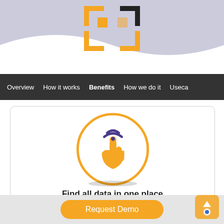[Figure (logo): Orange and black bracket/QR-code style logo in header banner with lavender wave background]
Overview  How it works  Benefits  How we do it  Useca...
[Figure (illustration): Orange hand pointer/touch icon with purple wifi signal waves inside a large orange-bordered circle]
Find all data in one place
Request Demo